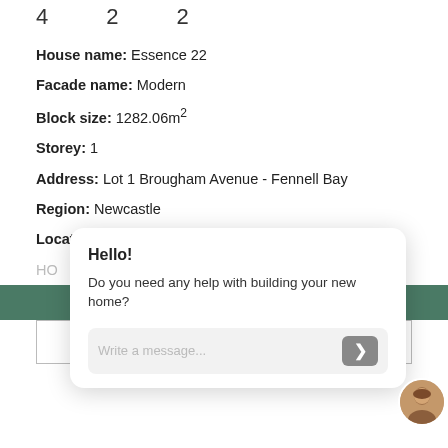4   2   2
House name: Essence 22
Facade name: Modern
Block size: 1282.06m²
Storey: 1
Address: Lot 1 Brougham Avenue - Fennell Bay
Region: Newcastle
Location: Fennell Bay
HO
[Figure (screenshot): Chat popup overlay with Hello! greeting, Do you need any help with building your new home? message, and Write a message... input field with send arrow button]
SEE DETAILS
ENQUIRE